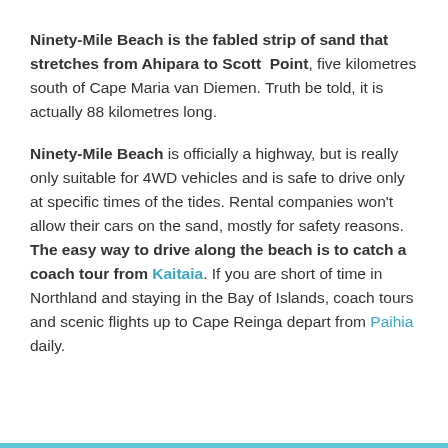Ninety-Mile Beach is the fabled strip of sand that stretches from Ahipara to Scott Point, five kilometres south of Cape Maria van Diemen. Truth be told, it is actually 88 kilometres long.
Ninety-Mile Beach is officially a highway, but is really only suitable for 4WD vehicles and is safe to drive only at specific times of the tides. Rental companies won't allow their cars on the sand, mostly for safety reasons. The easy way to drive along the beach is to catch a coach tour from Kaitaia. If you are short of time in Northland and staying in the Bay of Islands, coach tours and scenic flights up to Cape Reinga depart from Paihia daily.